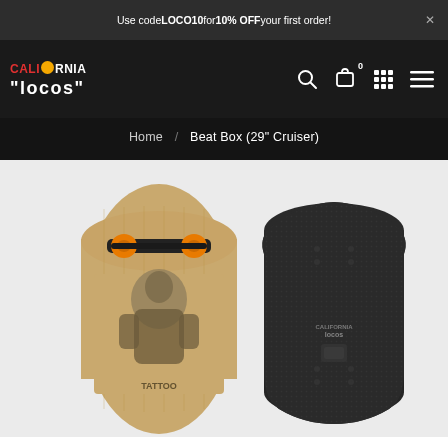Use code LOCO10 for 10% OFF your first order!
[Figure (logo): California Locos brand logo with red CALI, orange circle replacing O in California, white RNIA, and white Locos text below]
Home / Beat Box (29" Cruiser)
[Figure (photo): Two skateboards shown side by side: left skateboard shows graphic deck with illustrated figure and orange wheels with black truck, right skateboard shows black grip tape side up with California Locos branding]